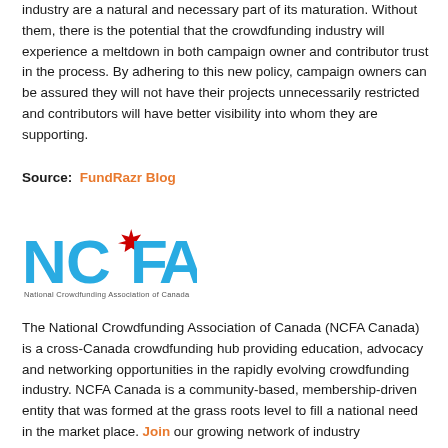industry are a natural and necessary part of its maturation. Without them, there is the potential that the crowdfunding industry will experience a meltdown in both campaign owner and contributor trust in the process. By adhering to this new policy, campaign owners can be assured they will not have their projects unnecessarily restricted and contributors will have better visibility into whom they are supporting.
Source:  FundRazr Blog
[Figure (logo): NCFA (National Crowdfunding Association of Canada) logo in blue with a red maple leaf]
The National Crowdfunding Association of Canada (NCFA Canada) is a cross-Canada crowdfunding hub providing education, advocacy and networking opportunities in the rapidly evolving crowdfunding industry. NCFA Canada is a community-based, membership-driven entity that was formed at the grass roots level to fill a national need in the market place. Join our growing network of industry stakeholders, fundraisers and investors. Increase your organization's